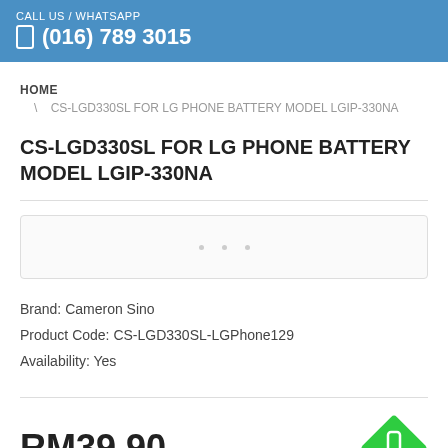CALL US / WHATSAPP (016) 789 3015
HOME
\ CS-LGD330SL FOR LG PHONE BATTERY MODEL LGIP-330NA
CS-LGD330SL FOR LG PHONE BATTERY MODEL LGIP-330NA
[Figure (photo): Product image placeholder with navigation dots]
Brand: Cameron Sino
Product Code: CS-LGD330SL-LGPhone129
Availability: Yes
RM39.90